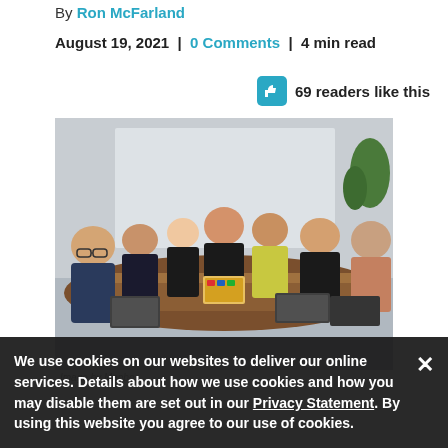By Ron McFarland
August 19, 2021  |  0 Comments  |  4 min read
69 readers like this
[Figure (photo): Group of people sitting around a conference table with laptops, one woman in the center facing the camera]
Image by Mapbo.
We use cookies on our websites to deliver our online services. Details about how we use cookies and how you may disable them are set out in our Privacy Statement. By using this website you agree to our use of cookies.